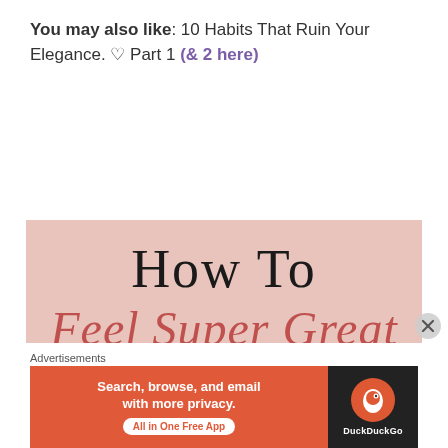You may also like: 10 Habits That Ruin Your Elegance. ♡ Part 1 (& 2 here)
[Figure (illustration): Pink/rose background graphic with text: 'How To Feel Super Great On Christmas Day' in mixed serif and script fonts]
Advertisements
[Figure (screenshot): DuckDuckGo advertisement banner: 'Search, browse, and email with more privacy. All in One Free App' with DuckDuckGo logo on dark background]